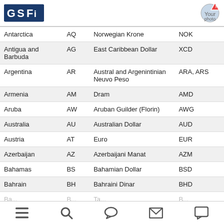GSFi logo and profile icon
| Country | Code | Currency | ISO |
| --- | --- | --- | --- |
| Antarctica | AQ | Norwegian Krone | NOK |
| Antigua and Barbuda | AG | East Caribbean Dollar | XCD |
| Argentina | AR | Austral and Argenintinian Neuvo Peso | ARA, ARS |
| Armenia | AM | Dram | AMD |
| Aruba | AW | Aruban Guilder (Florin) | AWG |
| Australia | AU | Australian Dollar | AUD |
| Austria | AT | Euro | EUR |
| Azerbaijan | AZ | Azerbaijani Manat | AZM |
| Bahamas | BS | Bahamian Dollar | BSD |
| Bahrain | BH | Bahraini Dinar | BHD |
Navigation bar with menu, search, chat, mail, and message icons